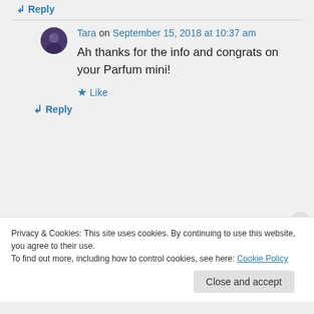↵ Reply
Tara on September 15, 2018 at 10:37 am
Ah thanks for the info and congrats on your Parfum mini!
★ Like
↵ Reply
Privacy & Cookies: This site uses cookies. By continuing to use this website, you agree to their use. To find out more, including how to control cookies, see here: Cookie Policy
Close and accept